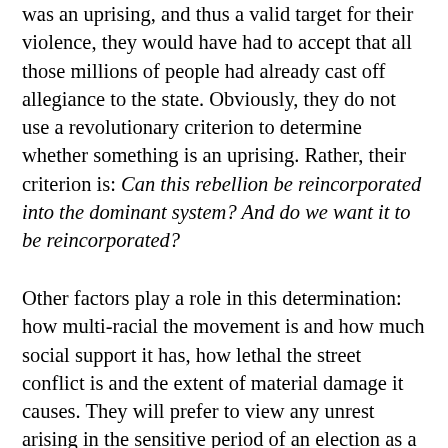was an uprising, and thus a valid target for their violence, they would have had to accept that all those millions of people had already cast off allegiance to the state. Obviously, they do not use a revolutionary criterion to determine whether something is an uprising. Rather, their criterion is: Can this rebellion be reincorporated into the dominant system? And do we want it to be reincorporated?
Other factors play a role in this determination: how multi-racial the movement is and how much social support it has, how lethal the street conflict is and the extent of material damage it causes. They will prefer to view any unrest arising in the sensitive period of an election as a civic demand for a properly functioning democracy that obeys its own